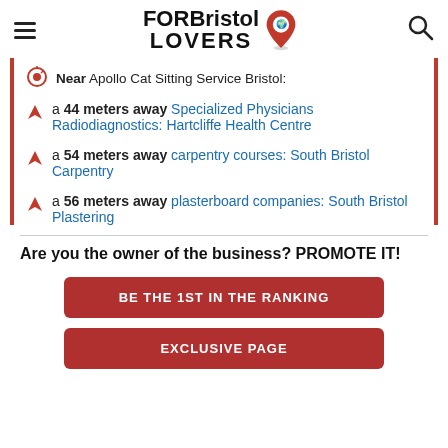FORBristol LOVERS
Near Apollo Cat Sitting Service Bristol:
a 44 meters away Specialized Physicians Radiodiagnostics: Hartcliffe Health Centre
a 54 meters away carpentry courses: South Bristol Carpentry
a 56 meters away plasterboard companies: South Bristol Plastering
Are you the owner of the business? PROMOTE IT!
BE THE 1ST IN THE RANKING
EXCLUSIVE PAGE